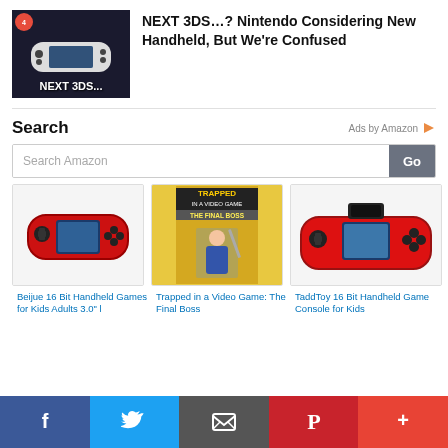[Figure (screenshot): Thumbnail image of a handheld gaming device with text 'NEXT 3DS...' on a dark background]
NEXT 3DS…? Nintendo Considering New Handheld, But We're Confused
Search
Ads by Amazon
Search Amazon
[Figure (photo): Red Beijue 16 Bit Handheld Games console for kids]
[Figure (photo): Book cover: Trapped in a Video Game: The Final Boss]
[Figure (photo): Red TaddToy 16 Bit Handheld Game Console for Kids]
Beijue 16 Bit Handheld Games for Kids Adults 3.0" l
Trapped in a Video Game: The Final Boss
TaddToy 16 Bit Handheld Game Console for Kids